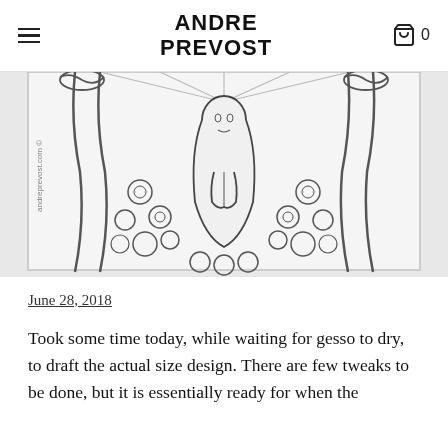ANDRE PREVOST
[Figure (illustration): A pencil/ink line drawing on canvas showing a praying religious figure (Virgin Mary) in the center, surrounded by roses and sword/banner motifs held by figures on both sides. Watermark text 'andreprevost.com ©' visible on left side.]
June 28, 2018
Took some time today, while waiting for gesso to dry, to draft the actual size design. There are few tweaks to be done, but it is essentially ready for when the